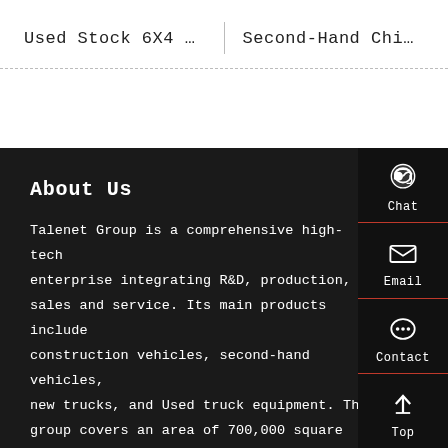Used Stock 6X4 …	Second-Hand Chi…
About Us
Talenet Group is a comprehensive high-tech enterprise integrating R&D, production, sales and service. Its main products include construction vehicles, second-hand vehicles, new trucks, and Used truck equipment. The group covers an area of 700,000 square meters, with more than 8,000 employees and +2,000 skilled workers. Established a long-term friendly cooperative relationship with